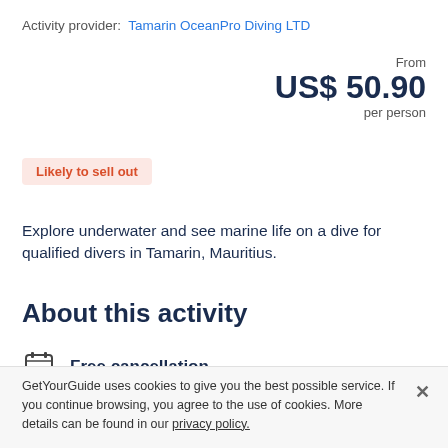Activity provider:  Tamarin OceanPro Diving LTD
From
US$ 50.90
per person
Likely to sell out
Explore underwater and see marine life on a dive for qualified divers in Tamarin, Mauritius.
About this activity
Free cancellation
Cancel up to 24 hours in advance to receive a full refund
GetYourGuide uses cookies to give you the best possible service. If you continue browsing, you agree to the use of cookies. More details can be found in our privacy policy.